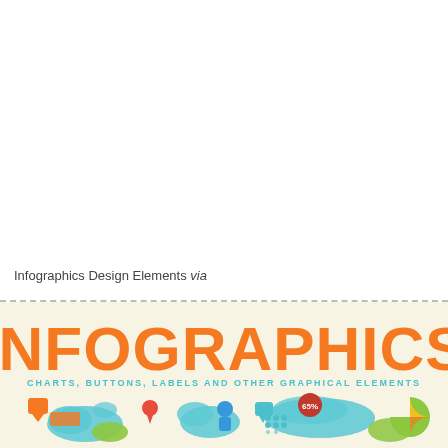Infographics Design Elements via
[Figure (infographic): Infographic design elements banner with large orange INFOGRAPHICS title text, teal subtitle reading CHARTS, BUTTONS, LABELS AND OTHER GRAPHICAL ELEMENTS, and a world map illustration with colorful icons including speech bubbles, people, pie chart, and data visualization elements at the bottom.]